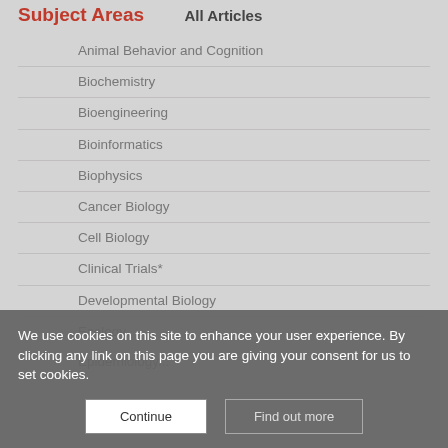Subject Areas
All Articles
Animal Behavior and Cognition
Biochemistry
Bioengineering
Bioinformatics
Biophysics
Cancer Biology
Cell Biology
Clinical Trials*
Developmental Biology
Ecology
Epidemiology...
We use cookies on this site to enhance your user experience. By clicking any link on this page you are giving your consent for us to set cookies.
Continue | Find out more